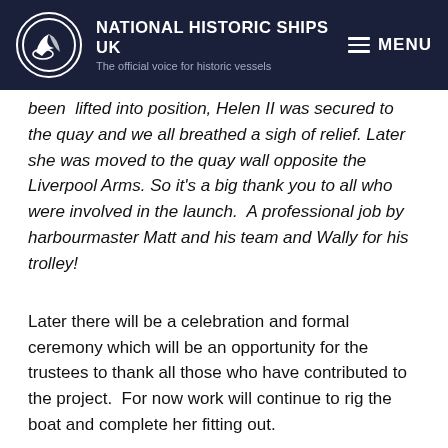NATIONAL HISTORIC SHIPS UK — The official voice for historic vessels
been lifted into position, Helen II was secured to the quay and we all breathed a sigh of relief. Later she was moved to the quay wall opposite the Liverpool Arms. So it's a big thank you to all who were involved in the launch. A professional job by harbourmaster Matt and his team and Wally for his trolley!
Later there will be a celebration and formal ceremony which will be an opportunity for the trustees to thank all those who have contributed to the project. For now work will continue to rig the boat and complete her fitting out.